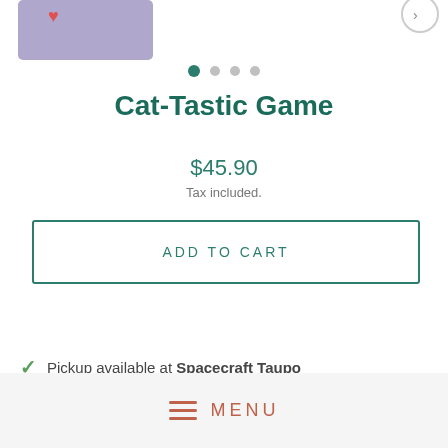[Figure (illustration): Partial view of a purple/lavender game box at top left, with a red heart/pin icon overlay. A navigation arrow button is visible at top right.]
• • • •  (navigation dots, first dot active)
Cat-Tastic Game
$45.90
Tax included.
ADD TO CART
Pickup available at Spacecraft Taupo
MENU